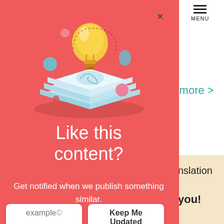[Figure (screenshot): Screenshot of a website modal popup with a coral/red background. The modal contains an illustration of a lightbulb over stacked cards with colorful floating bubbles. Below the illustration is the title 'Like this content?' followed by body text 'Get notified when we publish something similar.' with two buttons: 'example©' and 'Keep Me Updated'. Behind the modal is a partially visible white webpage with a 'read more >' link in teal and text fragments 'nslation' and 'you!'. A hamburger menu icon labeled MENU is in the top right. An × close button is at the top of the modal.]